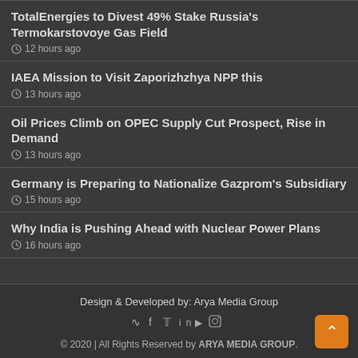TotalEnergies to Divest 49% Stake Russia's Termokarstovoye Gas Field
12 hours ago
IAEA Mission to Visit Zaporizhzhya NPP this
13 hours ago
Oil Prices Climb on OPEC Supply Cut Prospect, Rise in Demand
13 hours ago
Germany is Preparing to Nationalize Gazprom's Subsidiary
15 hours ago
Why India is Pushing Ahead with Nuclear Power Plans
16 hours ago
Design & Developed by: Arya Media Group
© 2020 | All Rights Reserved by ARYA MEDIA GROUP.